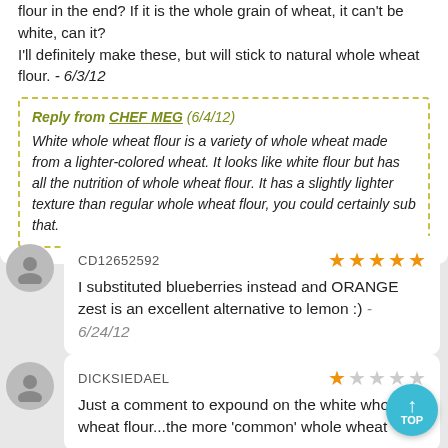flour in the end? If it is the whole grain of wheat, it can't be white, can it?
I'll definitely make these, but will stick to natural whole wheat flour. - 6/3/12
Reply from CHEF MEG (6/4/12) White whole wheat flour is a variety of whole wheat made from a lighter-colored wheat. It looks like white flour but has all the nutrition of whole wheat flour. It has a slightly lighter texture than regular whole wheat flour, you could certainly sub that.
CD12652592
I substituted blueberries instead and ORANGE zest is an excellent alternative to lemon :) - 6/24/12
DICKSIEDAEL
Just a comment to expound on the white whole wheat flour...the more 'common' whole wheat